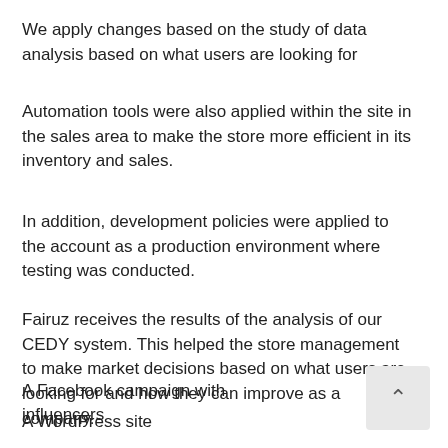We apply changes based on the study of data analysis based on what users are looking for
Automation tools were also applied within the site in the sales area to make the store more efficient in its inventory and sales.
In addition, development policies were applied to the account as a production environment where testing was conducted.
Fairuz receives the results of the analysis of our CEDY system. This helped the store management to make market decisions based on what users are looking for and how they can improve as a company.
A WordPress site
A Facebook campaign with influencers